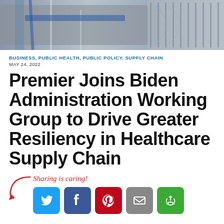[Figure (photo): Aerial view of roads/highways and conveyor belt machinery, cropped at top of page]
BUSINESS, PUBLIC HEALTH, PUBLIC POLICY, SUPPLY CHAIN
MAY 24, 2022
Premier Joins Biden Administration Working Group to Drive Greater Resiliency in Healthcare Supply Chain
Sharing is caring!
[Figure (infographic): Social sharing buttons: Twitter (blue), Facebook (dark blue), Pinterest (red), Email (gray), Share/recycle (green)]